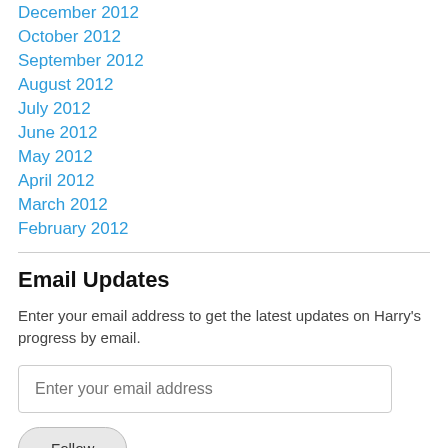December 2012
October 2012
September 2012
August 2012
July 2012
June 2012
May 2012
April 2012
March 2012
February 2012
Email Updates
Enter your email address to get the latest updates on Harry's progress by email.
Enter your email address
Follow